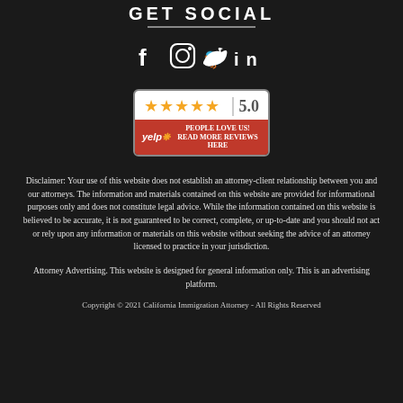GET SOCIAL
[Figure (infographic): Social media icons: Facebook (f), Instagram (camera), Twitter (bird), LinkedIn (in)]
[Figure (infographic): Yelp badge showing 5 gold stars, rating 5.0, with Yelp logo and text PEOPLE LOVE US! READ MORE REVIEWS HERE]
Disclaimer: Your use of this website does not establish an attorney-client relationship between you and our attorneys. The information and materials contained on this website are provided for informational purposes only and does not constitute legal advice. While the information contained on this website is believed to be accurate, it is not guaranteed to be correct, complete, or up-to-date and you should not act or rely upon any information or materials on this website without seeking the advice of an attorney licensed to practice in your jurisdiction.
Attorney Advertising. This website is designed for general information only. This is an advertising platform.
Copyright © 2021 California Immigration Attorney - All Rights Reserved